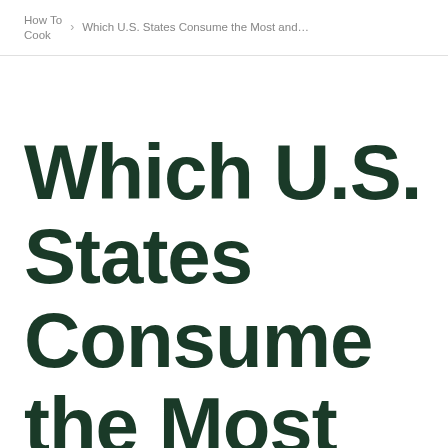How To Cook › Which U.S. States Consume the Most and Least Fruits and V...
Which U.S. States Consume the Most and Least Fruits and